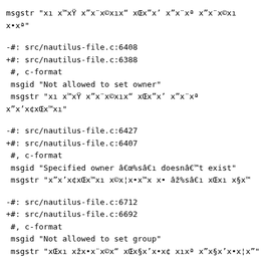msgstr "xı x™xŸ x”x¨x©xıx“ xŒx”x’ x”x¨xª x”x¨x©xı x•xª"
-#: src/nautilus-file.c:6408
+#: src/nautilus-file.c:6388
 #, c-format
 msgid "Not allowed to set owner"
 msgstr "xı x™xŸ x”x¨x©xıx“ xŒx”x’ x”x¨xª x”x’x¢xŒx™xı"
-#: src/nautilus-file.c:6427
+#: src/nautilus-file.c:6407
 #, c-format
 msgid "Specified owner â€œ%sâ€ı doesnâ€™t exist"
 msgstr "x”x’x¢xŒx™xı x©x¦x•x™x x• âž%sâ€ı xŒxı x§x™
-#: src/nautilus-file.c:6712
+#: src/nautilus-file.c:6692
 #, c-format
 msgid "Not allowed to set group"
 msgstr "xŒxı xžx•x¨x©x“ xŒx§x’x•x¢ xıxª x”x§x’x•x¦x”"